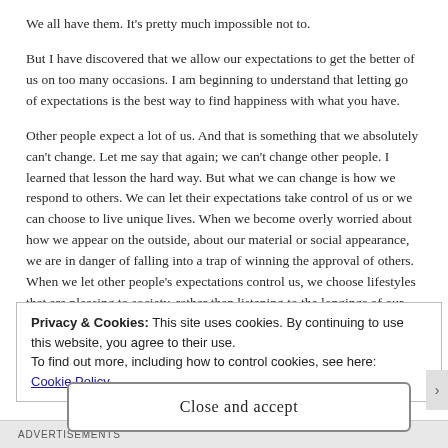We all have them. It's pretty much impossible not to.
But I have discovered that we allow our expectations to get the better of us on too many occasions. I am beginning to understand that letting go of expectations is the best way to find happiness with what you have.
Other people expect a lot of us. And that is something that we absolutely can't change. Let me say that again; we can't change other people. I learned that lesson the hard way. But what we can change is how we respond to others. We can let their expectations take control of us or we can choose to live unique lives. When we become overly worried about how we appear on the outside, about our material or social appearance, we are in danger of falling into a trap of winning the approval of others. When we let other people's expectations control us, we choose lifestyles that are pleasing to society, rather than listening to the longings of our own hearts.
Privacy & Cookies: This site uses cookies. By continuing to use this website, you agree to their use.
To find out more, including how to control cookies, see here: Cookie Policy
Close and accept
Advertisements